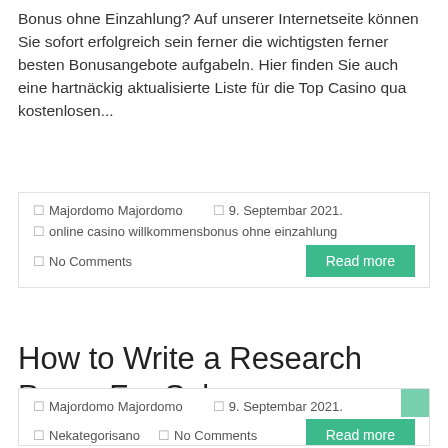Bonus ohne Einzahlung? Auf unserer Internetseite können Sie sofort erfolgreich sein ferner die wichtigsten ferner besten Bonusangebote aufgabeln. Hier finden Sie auch eine hartnäckig aktualisierte Liste für die Top Casino qua kostenlosen...
| 🏠Majordomo Majordomo | 📅9. Septembar 2021. |
| 🏷online casino willkommensbonus ohne einzahlung |  |
| 💬No Comments | Read more |
How to Write a Research Paper For Sale
| 🏠Majordomo Majordomo | 📅9. Septembar 2021. |
| 🏷Nekategorisano | 💬No Comments | Read more |